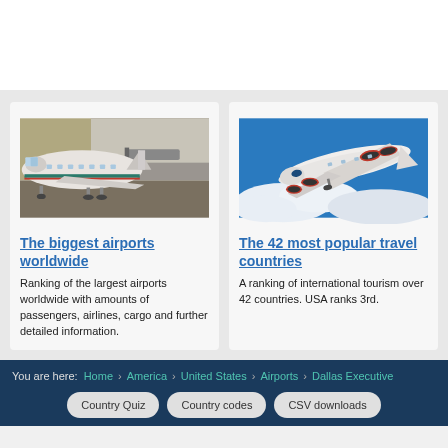[Figure (photo): Commercial airplane docked at airport gate with jet bridge attached, viewed from the front-left showing cockpit and teal/green fuselage]
The biggest airports worldwide
Ranking of the largest airports worldwide with amounts of passengers, airlines, cargo and further detailed information.
[Figure (photo): Commercial airplane in flight against blue sky with clouds, viewed from below-front showing red engines and white fuselage]
The 42 most popular travel countries
A ranking of international tourism over 42 countries. USA ranks 3rd.
You are here: Home › America › United States › Airports › Dallas Executive